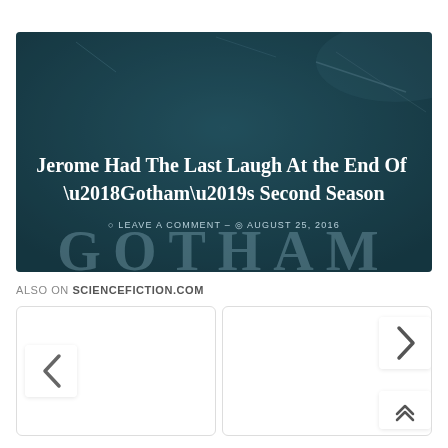[Figure (screenshot): Hero image for article 'Jerome Had The Last Laugh At the End Of ‘Gotham’s Second Season' on sciencefiction.com. Dark teal/blue textured background with the word GOTHAM faintly visible. Article title in white serif bold text, with metadata below: leave a comment, August 25, 2016.]
ALSO ON SCIENCEFICTION.COM
[Figure (screenshot): Two article card thumbnails side by side, with left and right navigation chevron arrows and a scroll-to-top button.]